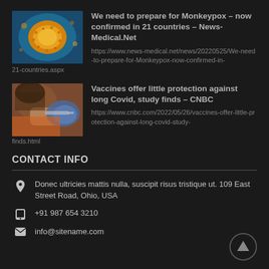[Figure (photo): Monkeypox virus particle colored image (yellow/orange on blue background)]
We need to prepare for Monkeypox – now confirmed in 21 countries – News-Medical.Net
https://www.news-medical.net/news/20220525/We-need-to-prepare-for-Monkeypox-now-confirmed-in-21-countries.aspx
[Figure (photo): Person receiving a vaccine injection, medical setting]
Vaccines offer little protection against long Covid, study finds – CNBC
https://www.cnbc.com/2022/05/26/vaccines-offer-little-protection-against-long-covid-study-finds.html
CONTACT INFO
Donec ultricies mattis nulla, suscipit risus tristique ut. 109 East Street Road, Ohio, USA
+91 987 654 3210
info@sitename.com